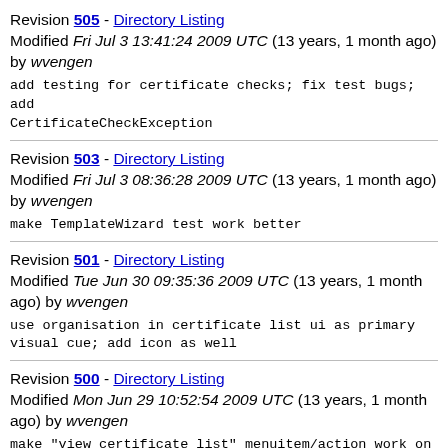Revision 505 - Directory Listing
Modified Fri Jul 3 13:41:24 2009 UTC (13 years, 1 month ago) by wvengen
add testing for certificate checks; fix test bugs; add CertificateCheckException
Revision 503 - Directory Listing
Modified Fri Jul 3 08:36:28 2009 UTC (13 years, 1 month ago) by wvengen
make TemplateWizard test work better
Revision 501 - Directory Listing
Modified Tue Jun 30 09:35:36 2009 UTC (13 years, 1 month ago) by wvengen
use organisation in certificate list ui as primary visual cue; add icon as well
Revision 500 - Directory Listing
Modified Mon Jun 29 10:52:54 2009 UTC (13 years, 1 month ago) by wvengen
make "view certificate list" menuitem/action work on java 1.5 and below as well